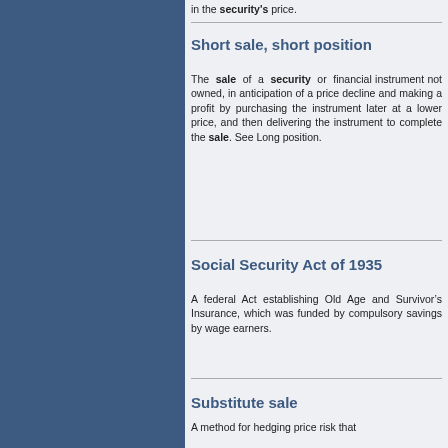in the security's price.
Short sale, short position
The sale of a security or financial instrument not owned, in anticipation of a price decline and making a profit by purchasing the instrument later at a lower price, and then delivering the instrument to complete the sale. See Long position.
Social Security Act of 1935
A federal Act establishing Old Age and Survivors Insurance, which was funded by compulsory savings by wage earners.
Substitute sale
A method for hedging price risk that will also be described.